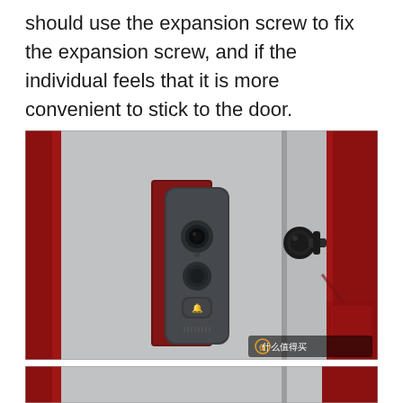should use the expansion screw to fix the expansion screw, and if the individual feels that it is more convenient to stick to the door.
[Figure (photo): A smart video doorbell camera mounted on a door frame. The device is gray/dark colored with a camera lens, microphone, and doorbell button visible. To the right is a door handle/cylinder. The door frame has red accents. A watermark reads '什么值得买' (What's worth buying) in the bottom right corner.]
[Figure (photo): Partial view of a door installation, showing red door frame elements.]